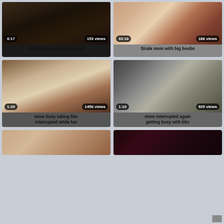[Figure (screenshot): Video thumbnail - dark bedroom scene, duration 0:17, 153 views]
Wife giving hand job in bed
[Figure (screenshot): Video thumbnail - couple scene, duration 33:16, 186 views]
Sirale mom with big boobs
[Figure (screenshot): Video thumbnail - blurred intimate scene, duration 1:20, 1450 views]
mom busy taking bbc interrupted while her
[Figure (screenshot): Video thumbnail - couple webcam scene, duration 1:10, 925 views]
mom interrupted again getting busy with bbc
[Figure (screenshot): Video thumbnail - close up scene, partial view]
[Figure (screenshot): Video thumbnail - dark scene with overlay, partial view]